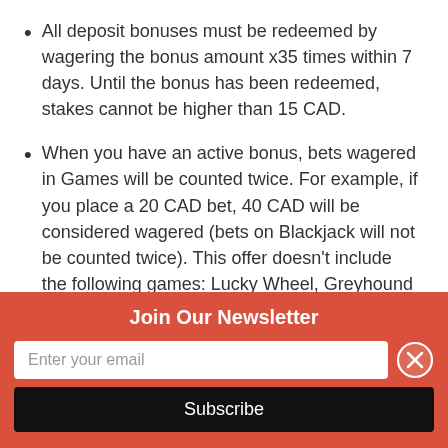All deposit bonuses must be redeemed by wagering the bonus amount x35 times within 7 days. Until the bonus has been redeemed, stakes cannot be higher than 15 CAD.
When you have an active bonus, bets wagered in Games will be counted twice. For example, if you place a 20 CAD bet, 40 CAD will be considered wagered (bets on Blackjack will not be counted twice). This offer doesn't include the following games: Lucky Wheel, Greyhound Racing, Monkeys, African roulette, Crown & Anchor. The list of available…
[Figure (screenshot): Newsletter signup overlay with orange background, 'Join Our Newsletter' title, email input field, close button (X), and Subscribe button]